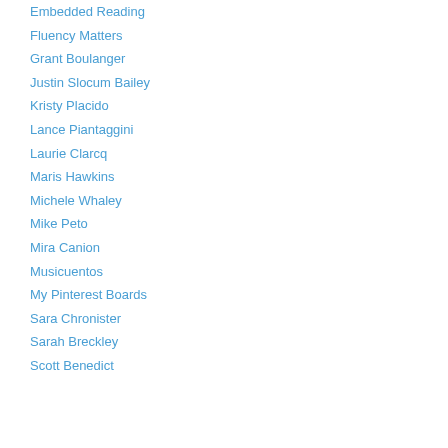Embedded Reading
Fluency Matters
Grant Boulanger
Justin Slocum Bailey
Kristy Placido
Lance Piantaggini
Laurie Clarcq
Maris Hawkins
Michele Whaley
Mike Peto
Mira Canion
Musicuentos
My Pinterest Boards
Sara Chronister
Sarah Breckley
Scott Benedict